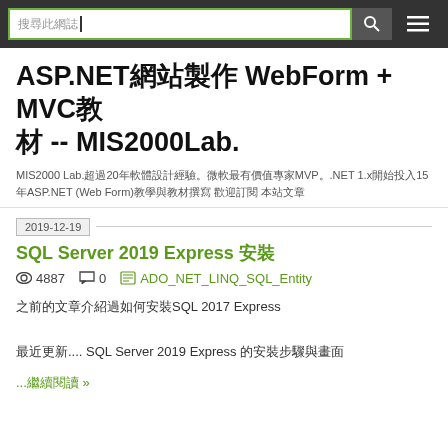搜尋此網誌
ASP.NET網站製作 WebForm + MVC教材 -- MIS2000Lab.
MIS2000 Lab.超過20年軟體設計經驗。微軟最有價值專家MVP。.NET 1.x開始投入15年ASP.NET (Web Form)教學與教材撰寫 歡迎訂閱 本站文章
2019-12-19
SQL Server 2019 Express 安裝
4887   0   ADO_NET_LINQ_SQL_Entity
之前的文章介紹過如何安裝SQL 2017 Express

最近更新.... SQL Server 2019 Express 的安裝步驟與畫面
...繼續閱讀 »